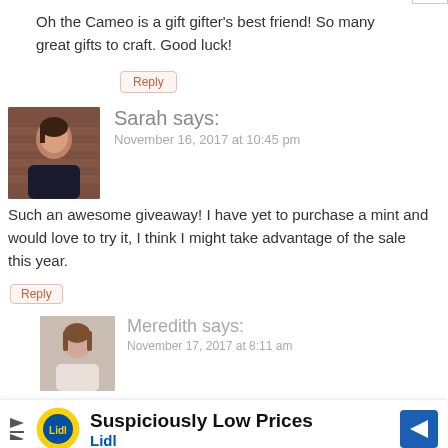Oh the Cameo is a gift gifter's best friend! So many great gifts to craft. Good luck!
Reply
Sarah says:
November 16, 2017 at 10:45 pm
Such an awesome giveaway! I have yet to purchase a mint and would love to try it, I think I might take advantage of the sale this year.
Reply
Meredith says:
November 17, 2017 at 8:11 am
The mint is so fun, you'd love it! I have a feeling you will find an amazing Mint bundle next week ;-)
[Figure (infographic): Lidl advertisement banner: Suspiciously Low Prices, Lidl logo and arrow icon]